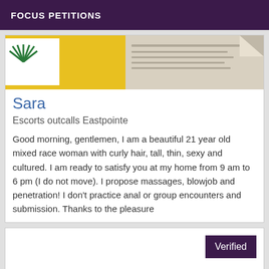FOCUS PETITIONS
[Figure (photo): Photo showing papers/documents with a green fan/leaf logo on a yellow background]
Sara
Escorts outcalls Eastpointe
Good morning, gentlemen, I am a beautiful 21 year old mixed race woman with curly hair, tall, thin, sexy and cultured. I am ready to satisfy you at my home from 9 am to 6 pm (I do not move). I propose massages, blowjob and penetration! I don't practice anal or group encounters and submission. Thanks to the pleasure
Verified